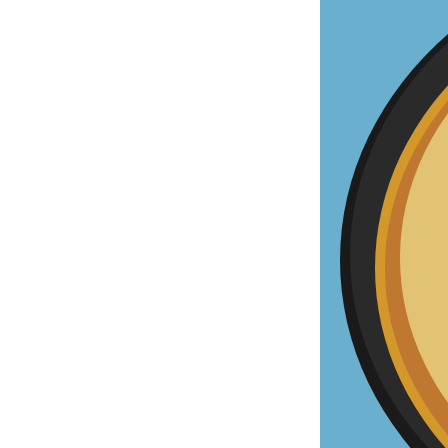[Figure (photo): Close-up photograph of a Hawaiian pizza on a dark round pan, topped with ham, pineapple chunks, and melted cheese, with a colorful floral tablecloth visible in the background. The left portion of the image is cropped out showing white space.]
Jen Maslang // www.shopgirljen.co